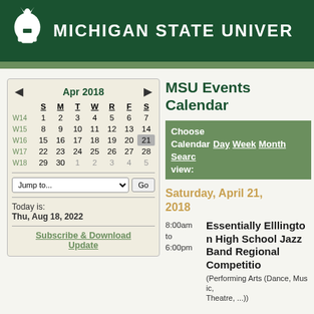MICHIGAN STATE UNIVERSITY
|  | S | M | T | W | R | F | S |
| --- | --- | --- | --- | --- | --- | --- | --- |
|  | S | M | T | W | R | F | S |
| W14 | 1 | 2 | 3 | 4 | 5 | 6 | 7 |
| W15 | 8 | 9 | 10 | 11 | 12 | 13 | 14 |
| W16 | 15 | 16 | 17 | 18 | 19 | 20 | 21 |
| W17 | 22 | 23 | 24 | 25 | 26 | 27 | 28 |
| W18 | 29 | 30 | 1 | 2 | 3 | 4 | 5 |
Today is: Thu, Aug 18, 2022
Subscribe & Download Update
MSU Events Calendar
Choose Calendar view: Day Week Month Search
Saturday, April 21, 2018
8:00am to 6:00pm  Essentially Ellington High School Jazz Band Regional Competition (Performing Arts (Dance, Music, Theatre, ...))